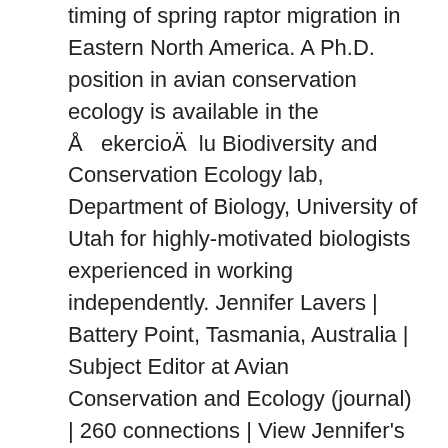timing of spring raptor migration in Eastern North America. A Ph.D. position in avian conservation ecology is available in the Å ekercioÄ lu Biodiversity and Conservation Ecology lab, Department of Biology, University of Utah for highly-motivated biologists experienced in working independently. Jennifer Lavers | Battery Point, Tasmania, Australia | Subject Editor at Avian Conservation and Ecology (journal) | 260 connections | View Jennifer's homepage, profile, activity, articles Earliest publisher: Waterloo ON: Resilience Alliance Publications, 2005- It has the main purpose of communicating new research and advances to different actors of society, including researchers, conservationists, practitioners, and policymakers. ornithological techniques the avian community will ever need. Publisher country is Canada. Perspectives in Ecology and Conservation